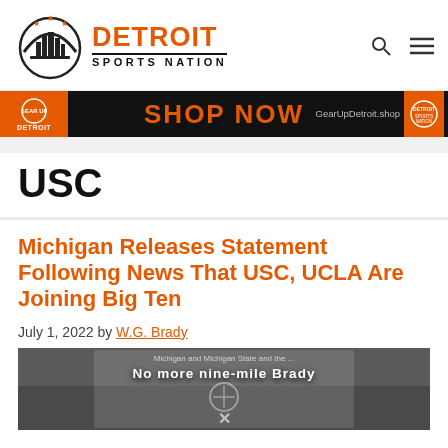DETROIT SPORTS NATION
[Figure (infographic): SHOP NOW banner — GearUpDetroit.shop]
USC
Michigan Releases Statement Following News That USC, UCLA Are Joining Big Ten
July 1, 2022 by W.G. Brady
[Figure (photo): Partially visible article thumbnail image with overlaid text, darkened background]